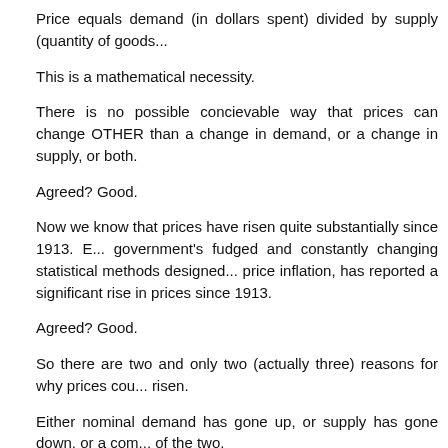Price equals demand (in dollars spent) divided by supply (quantity of goods...
This is a mathematical necessity.
There is no possible concievable way that prices can change OTHER than a change in demand, or a change in supply, or both.
Agreed? Good.
Now we know that prices have risen quite substantially since 1913. Even the government's fudged and constantly changing statistical methods designed to hide price inflation, has reported a significant rise in prices since 1913.
Agreed? Good.
So there are two and only two (actually three) reasons for why prices could have risen.
Either nominal demand has gone up, or supply has gone down, or a combination of the two.
Agreed? Good.
Now ask yourself if the cause for prices having risen since 1913 is only falling supply. That we can rule out without even thinking more than 2 seconds, because in order for prices to have risen that much by way of a fall in supply, would have meant the country has undergone a collapse on par with the collapse of the Roman Empire. So you should agree that we can mathematically rule out falling supply as a...
This leaves rising demand in dollars as the ONLY cause. It is literally impos... the ...to have risen the way prices have risen, unless demand has...